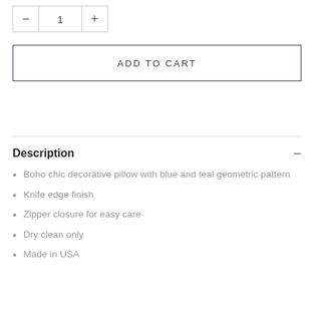— 1 +
ADD TO CART
Description
Boho chic decorative pillow with blue and teal geometric pattern
Knife edge finish
Zipper closure for easy care
Dry clean only
Made in USA